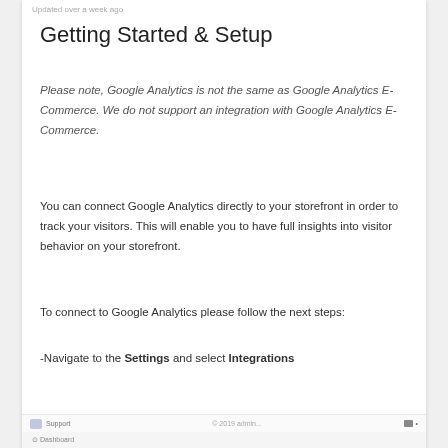Updated over a week ago
Getting Started & Setup
Please note, Google Analytics is not the same as Google Analytics E-Commerce. We do not support an integration with Google Analytics E-Commerce.
You can connect Google Analytics directly to your storefront in order to track your visitors. This will enable you to have full insights into visitor behavior on your storefront.
To connect to Google Analytics please follow the next steps:
-Navigate to the Settings and select Integrations
Support   ·   [navigation bar]   ·   Dashboard